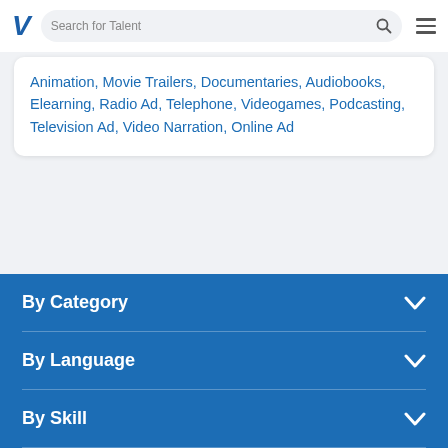V  Search for Talent
Animation, Movie Trailers, Documentaries, Audiobooks, Elearning, Radio Ad, Telephone, Videogames, Podcasting, Television Ad, Video Narration, Online Ad
By Category
By Language
By Skill